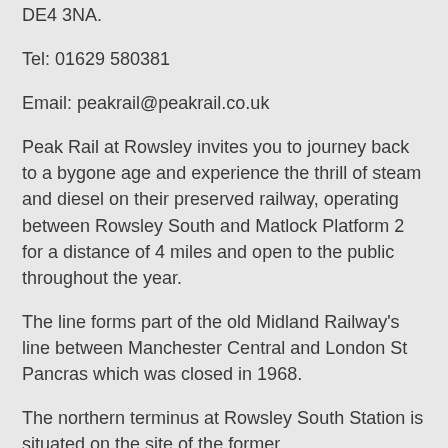DE4 3NA.
Tel: 01629 580381
Email: peakrail@peakrail.co.uk
Peak Rail at Rowsley invites you to journey back to a bygone age and experience the thrill of steam and diesel on their preserved railway, operating between Rowsley South and Matlock Platform 2 for a distance of 4 miles and open to the public throughout the year.
The line forms part of the old Midland Railway's line between Manchester Central and London St Pancras which was closed in 1968.
The northern terminus at Rowsley South Station is situated on the site of the former